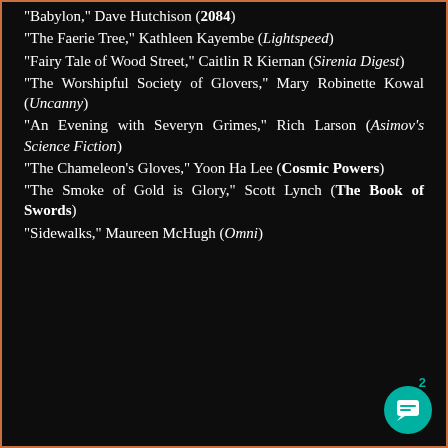"Babylon," Dave Hutchison (2084)
"The Faerie Tree," Kathleen Kayembe (Lightspeed)
"Fairy Tale of Wood Street," Caitlin R Kiernan (Sirenia Digest)
"The Worshipful Society of Glovers," Mary Robinette Kowal (Uncanny)
"An Evening with Severyn Grimes," Rich Larson (Asimov's Science Fiction)
"The Chameleon's Gloves," Yoon Ha Lee (Cosmic Powers)
"The Smoke of Gold is Glory," Scott Lynch (The Book of Swords)
"Sidewalks," Maureen McHugh (Omni)